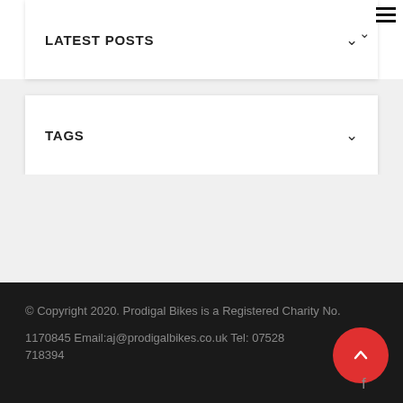LATEST POSTS
TAGS
© Copyright 2020. Prodigal Bikes is a Registered Charity No. 1170845 Email:aj@prodigalbikes.co.uk Tel: 07528 718394